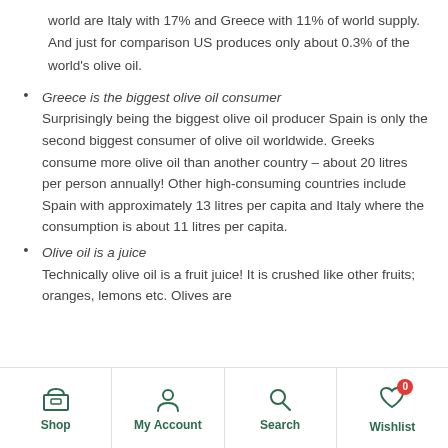world are Italy with 17% and Greece with 11% of world supply. And just for comparison US produces only about 0.3% of the world's olive oil.
Greece is the biggest olive oil consumer Surprisingly being the biggest olive oil producer Spain is only the second biggest consumer of olive oil worldwide. Greeks consume more olive oil than another country – about 20 litres per person annually! Other high-consuming countries include Spain with approximately 13 litres per capita and Italy where the consumption is about 11 litres per capita.
Olive oil is a juice Technically olive oil is a fruit juice! It is crushed like other fruits; oranges, lemons etc. Olives are
Shop  My Account  Search  Wishlist